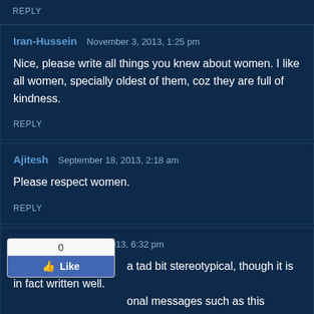REPLY
Iran-Hussein   November 3, 2013, 1:25 pm
Nice, please write all things you knew about women. I like all women, specially oldest of them, coz they are full of kindness.
REPLY
Ajitesh   September 18, 2013, 2:18 am
Please respect women.
REPLY
Tigernach   June 9, 2013, 6:32 pm
a tad bit stereotypical, though it is in fact written well. onal messages such as this should apply to all of humanity, not a single gender.
[Figure (other): Facebook Like widget showing count of 0 and a Like button]